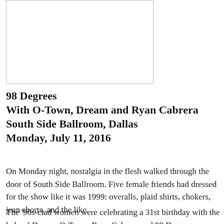[Figure (photo): A blank/white photograph placeholder with a border]
98 Degrees
With O-Town, Dream and Ryan Cabrera
South Side Ballroom, Dallas
Monday, July 11, 2016
On Monday night, nostalgia in the flesh walked through the door of South Side Ballroom. Five female friends had dressed for the show like it was 1999: overalls, plaid shirts, chokers, jean shorts, and the like.
The '90s-clad women were celebrating a 31st birthday with the help of Dream, O-Town, Ryan Cabrera and 98 Degrees.